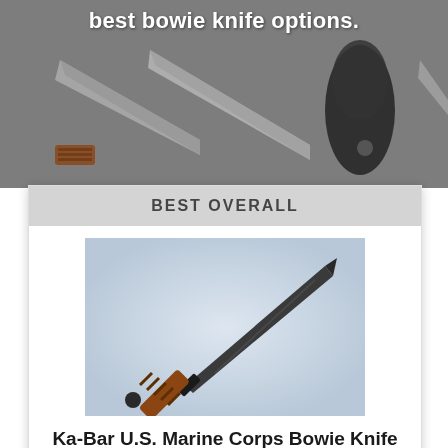best bowie knife options.
[Figure (photo): Background image of bowie knives with sheaths on a grey surface]
BEST OVERALL
[Figure (photo): Ka-Bar U.S. Marine Corps Bowie Knife product photo on light blue-grey gradient background]
Ka-Bar U.S. Marine Corps Bowie Knife
CHECK PRICE